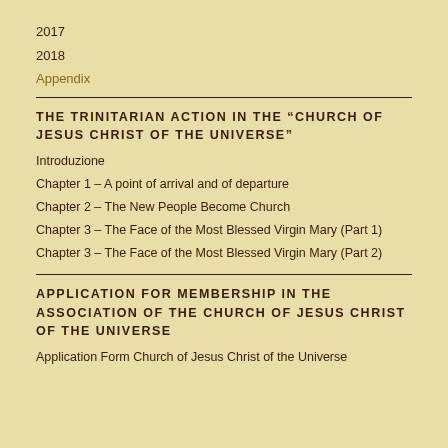2017
2018
Appendix
THE TRINITARIAN ACTION IN THE “CHURCH OF JESUS CHRIST OF THE UNIVERSE”
Introduzione
Chapter 1 – A point of arrival and of departure
Chapter 2 – The New People Become Church
Chapter 3 – The Face of the Most Blessed Virgin Mary (Part 1)
Chapter 3 – The Face of the Most Blessed Virgin Mary (Part 2)
APPLICATION FOR MEMBERSHIP IN THE ASSOCIATION OF THE CHURCH OF JESUS CHRIST OF THE UNIVERSE
Application Form Church of Jesus Christ of the Universe